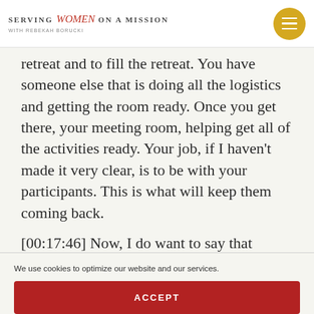SERVING Women ON A MISSION
retreat and to fill the retreat. You have someone else that is doing all the logistics and getting the room ready. Once you get there, your meeting room, helping get all of the activities ready. Your job, if I haven't made it very clear, is to be with your participants. This is what will keep them coming back.
[00:17:46] Now, I do want to say that
We use cookies to optimize our website and our services.
ACCEPT